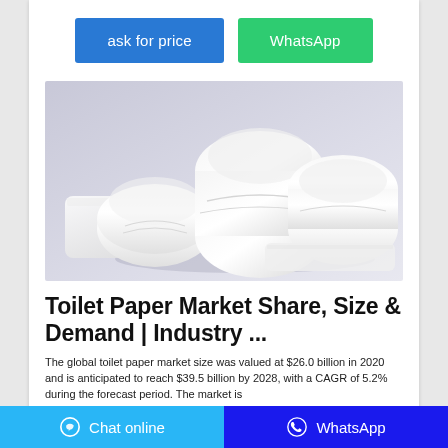[Figure (other): Two call-to-action buttons: blue 'ask for price' and green 'WhatsApp']
[Figure (photo): Stacked rolls of white toilet paper/tissue paper on a light gray background]
Toilet Paper Market Share, Size & Demand | Industry ...
The global toilet paper market size was valued at $26.0 billion in 2020 and is anticipated to reach $39.5 billion by 2028, with a CAGR of 5.2% during the forecast period. The market is
Chat online   WhatsApp